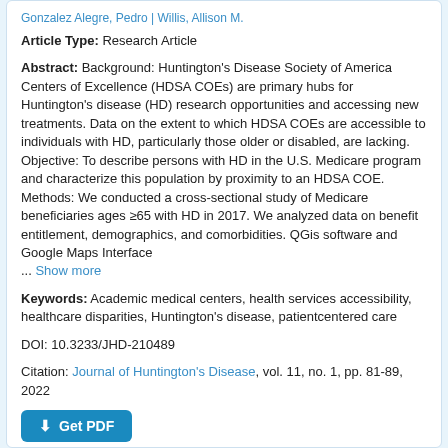Gonzalez Alegre, Pedro | Willis, Allison M.
Article Type: Research Article
Abstract: Background: Huntington's Disease Society of America Centers of Excellence (HDSA COEs) are primary hubs for Huntington's disease (HD) research opportunities and accessing new treatments. Data on the extent to which HDSA COEs are accessible to individuals with HD, particularly those older or disabled, are lacking. Objective: To describe persons with HD in the U.S. Medicare program and characterize this population by proximity to an HDSA COE. Methods: We conducted a cross-sectional study of Medicare beneficiaries ages ≥65 with HD in 2017. We analyzed data on benefit entitlement, demographics, and comorbidities. QGis software and Google Maps Interface ... Show more
Keywords: Academic medical centers, health services accessibility, healthcare disparities, Huntington's disease, patientcentered care
DOI: 10.3233/JHD-210489
Citation: Journal of Huntington's Disease, vol. 11, no. 1, pp. 81-89, 2022
Get PDF